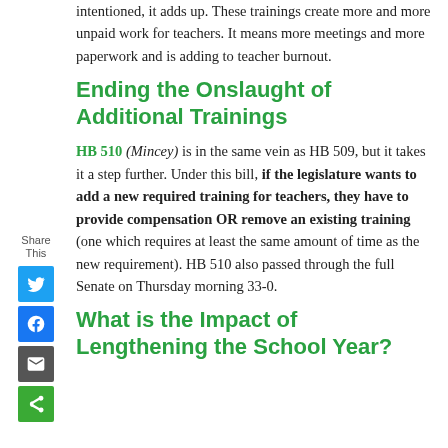intentioned, it adds up. These trainings create more and more unpaid work for teachers. It means more meetings and more paperwork and is adding to teacher burnout.
Ending the Onslaught of Additional Trainings
HB 510 (Mincey) is in the same vein as HB 509, but it takes it a step further. Under this bill, if the legislature wants to add a new required training for teachers, they have to provide compensation OR remove an existing training (one which requires at least the same amount of time as the new requirement). HB 510 also passed through the full Senate on Thursday morning 33-0.
What is the Impact of Lengthening the School Year?